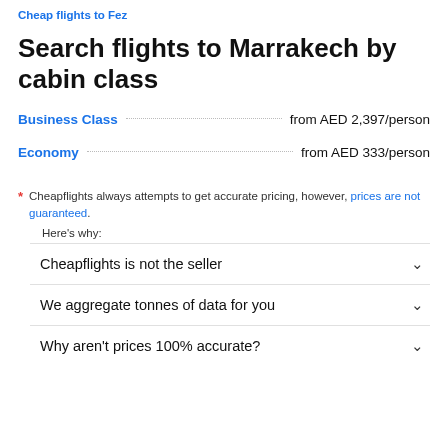Cheap flights to Fez
Search flights to Marrakech by cabin class
Business Class ... from AED 2,397/person
Economy ... from AED 333/person
* Cheapflights always attempts to get accurate pricing, however, prices are not guaranteed.
Here's why:
Cheapflights is not the seller
We aggregate tonnes of data for you
Why aren't prices 100% accurate?